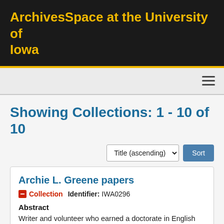ArchivesSpace at the University of Iowa
Showing Collections: 1 - 10 of 10
Archie L. Greene papers
Collection   Identifier: IWA0296
Abstract
Writer and volunteer who earned a doctorate in English from the University of Iowa while living with spinocerebellar degeneration.
Dates: 1963-1998